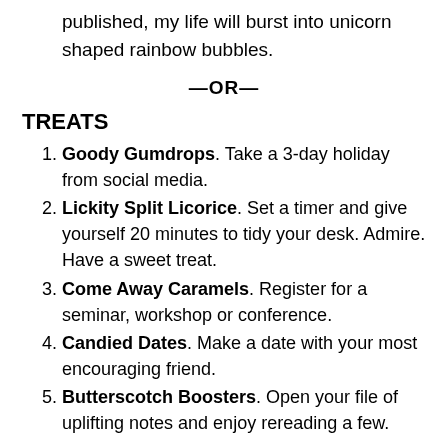published, my life will burst into unicorn shaped rainbow bubbles.
—OR—
TREATS
Goody Gumdrops. Take a 3-day holiday from social media.
Lickity Split Licorice. Set a timer and give yourself 20 minutes to tidy your desk. Admire. Have a sweet treat.
Come Away Caramels. Register for a seminar, workshop or conference.
Candied Dates. Make a date with your most encouraging friend.
Butterscotch Boosters. Open your file of uplifting notes and enjoy rereading a few.